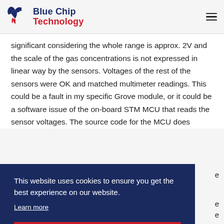Blue Chip Technology
significant considering the whole range is approx. 2V and the scale of the gas concentrations is not expressed in linear way by the sensors. Voltages of the rest of the sensors were OK and matched multimeter readings. This could be a fault in my specific Grove module, or it could be a software issue of the on-board STM MCU that reads the sensor voltages. The source code for the MCU does
This website uses cookies to ensure you get the best experience on our website. Learn more I understand.